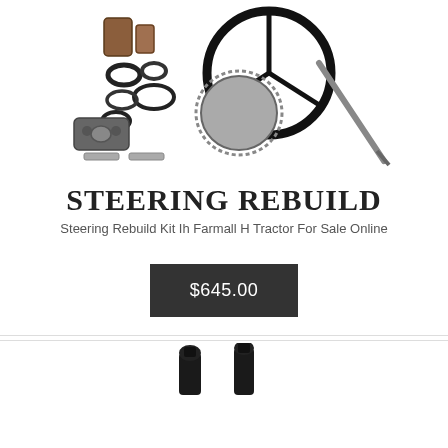[Figure (photo): Steering rebuild kit parts including bushings, rings, gear, steering wheel, and steering shaft spread out on white background]
STEERING REBUILD
Steering Rebuild Kit Ih Farmall H Tractor For Sale Online
$645.00
[Figure (photo): Two black metal parts (bolts or studs) shown at bottom of page, partially cropped]